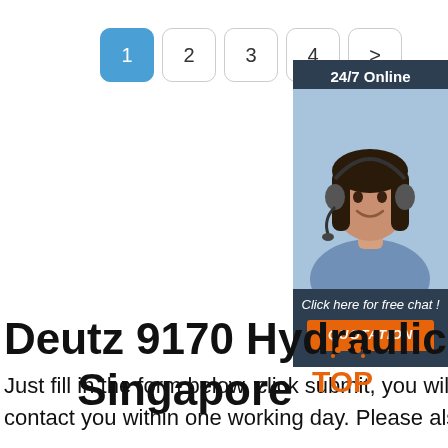1 2 3 4 >
[Figure (illustration): Customer service representative with headset, 24/7 Online chat widget with QUOTATION button]
Deutz 9170 Hydraulic P... Singapore
Just fill in the form below, click submit, you will get the price list, and we will contact you within one working day. Please also feel free to contact us via